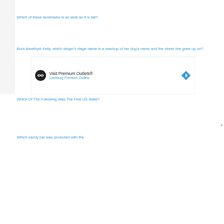Which of these landmarks is as wide as it is tall?
Born Amethyst Kelly, which singer’s stage name is a mashup of her dog’s name and the street she grew up on?
Which Of The Following Was The First US State?
Which candy bar was promoted with the
[Figure (screenshot): Advertisement banner for Visit Premium Outlets® — Leesburg Premium Outlets, with circular logo, text, and a blue navigation arrow icon on the right. A close (x) button appears at top right of the overlay.]